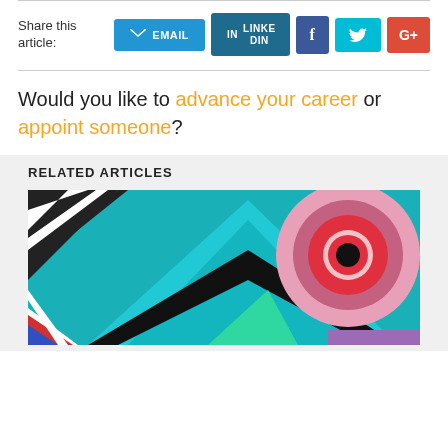Share this article:
[Figure (other): Social share buttons: EMAIL, LINKEDIN, Facebook, Twitter, Google+]
Would you like to advance your career or appoint someone?
RELATED ARTICLES
[Figure (photo): Colorful abstract mural with teal triangles and red/pink concentric circles]